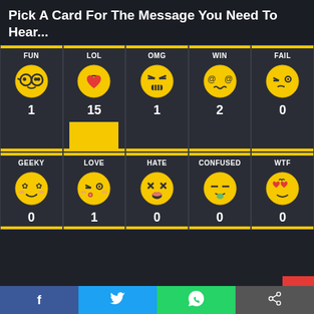Pick A Card For The Message You Need To Hear...
[Figure (infographic): Interactive card picker grid with 10 emoji cards in 2 rows of 5. Row 1: FUN(1), LOL(15, highlighted with yellow block), OMG(1), WIN(2), FAIL(0). Row 2: GEEKY(0), LOVE(1), HATE(0), CONFUSED(0), WTF(0). Each card has a yellow top bar, label, emoji face, count number, and yellow bottom bar. LOL card has a large yellow rectangle block.]
[Figure (infographic): Social share bar at bottom with Facebook (blue), Twitter (cyan), WhatsApp (green), and Share (grey) buttons.]